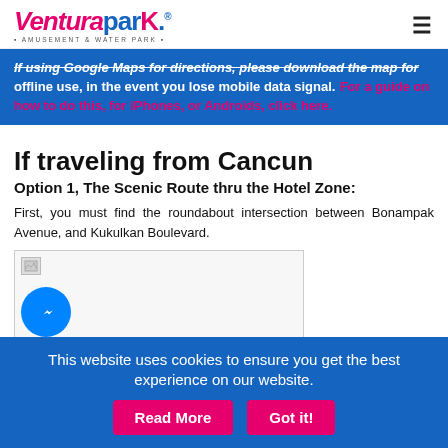Ventura Park · AMUSEMENT & WATER PARK
If using Google Maps for directions, please download the map for offline use, in the event you lose mobile data signal. For a guide on how to do this, for iPhones, or Androids, click here.
If traveling from Cancun
Option 1, The Scenic Route thru the Hotel Zone:
First, you must find the roundabout intersection between Bonampak Avenue, and Kukulkan Boulevard.
[Figure (photo): Map image placeholder with broken image icon and Facebook Messenger chat bubble overlay]
This website uses cookies to ensure you get the best experience on our website.
Read More   Got it!